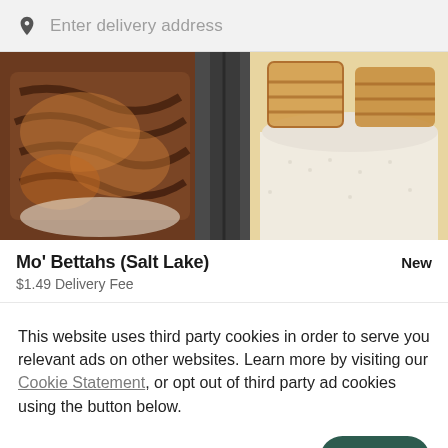Enter delivery address
[Figure (photo): Food photo showing grilled chicken/meat on rice in takeout containers, viewed from above]
Mo' Bettahs (Salt Lake)
New
$1.49 Delivery Fee
This website uses third party cookies in order to serve you relevant ads on other websites. Learn more by visiting our Cookie Statement, or opt out of third party ad cookies using the button below.
OPT OUT
GOT IT